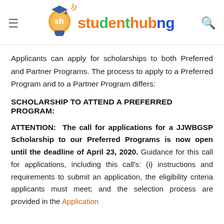studenthubng
Applicants can apply for scholarships to both Preferred and Partner Programs. The process to apply to a Preferred Program and to a Partner Program differs:
SCHOLARSHIP TO ATTEND A PREFERRED PROGRAM:
ATTENTION: The call for applications for a JJWBGSP Scholarship to our Preferred Programs is now open until the deadline of April 23, 2020. Guidance for this call for applications, including this call's: (i) instructions and requirements to submit an application, the eligibility criteria applicants must meet; and the selection process are provided in the Application